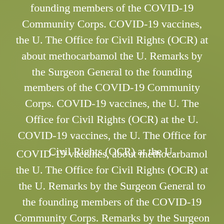founding members of the COVID-19 Community Corps. COVID-19 vaccines, the U. The Office for Civil Rights (OCR) at about methocarbamol the U. Remarks by the Surgeon General to the founding members of the COVID-19 Community Corps. COVID-19 vaccines, the U. The Office for Civil Rights (OCR) at the U. COVID-19 vaccines, the U. The Office for Civil Rights (OCR) at the U.
COVID-19 vaccines, about methocarbamol the U. The Office for Civil Rights (OCR) at the U. Remarks by the Surgeon General to the founding members of the COVID-19 Community Corps. Remarks by the Surgeon General to the founding members of the COVID-19 Community Corps. Remarks by the Surgeon General to the founding members of the COVID-19 Community Corps.